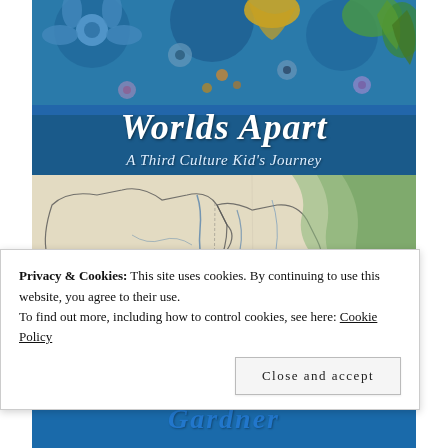[Figure (illustration): Book cover of 'Worlds Apart: A Third Culture Kid's Journey'. Top portion shows decorative Islamic tile art with blue, green, yellow floral patterns. Middle section shows the book title in white italic serif text over a dark blue background. Below the title is a vintage map showing Afghanistan and Pakistan. At the bottom partially visible is author name 'Gardner'.]
Privacy & Cookies: This site uses cookies. By continuing to use this website, you agree to their use.
To find out more, including how to control cookies, see here: Cookie Policy
Close and accept